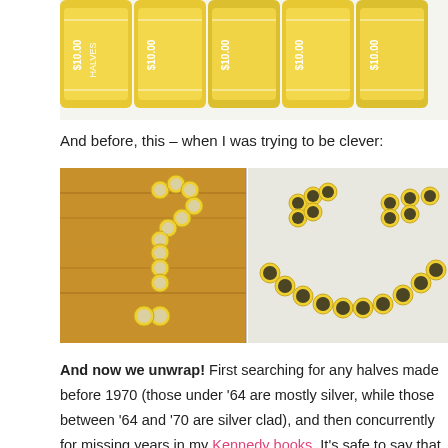[Figure (photo): Photo of yellow coin rolls labeled $10.00, viewed from above/side showing multiple rolls in a row]
And before, this – when I was trying to be clever:
[Figure (photo): Two photos side by side: left shows coin rolls arranged in a question mark shape on a wooden floor; right shows coin rolls arranged in a smiley face shape on a white surface]
And now we unwrap! First searching for any halves made before 1970 (those under '64 are mostly silver, while those between '64 and '70 are silver clad), and then concurrently for missing years in my Kennedy books. It's safe to say that after this huge